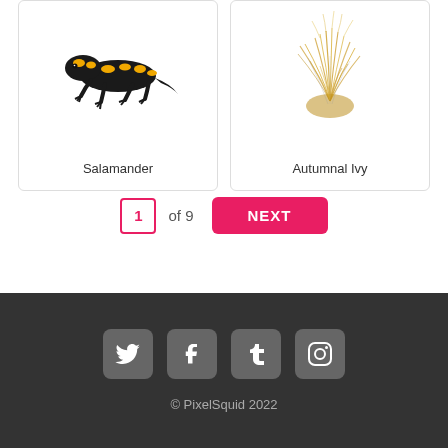[Figure (illustration): Two product/category cards side by side. Left card shows a black and yellow Fire Salamander lizard with label 'Salamander'. Right card shows a golden dried Autumnal Ivy bunch with label 'Autumnal Ivy'. Each card has a rounded border.]
1 of 9
NEXT
[Figure (illustration): Footer with social media icons: Twitter, Facebook, Tumblr, Instagram on dark background]
© PixelSquid 2022